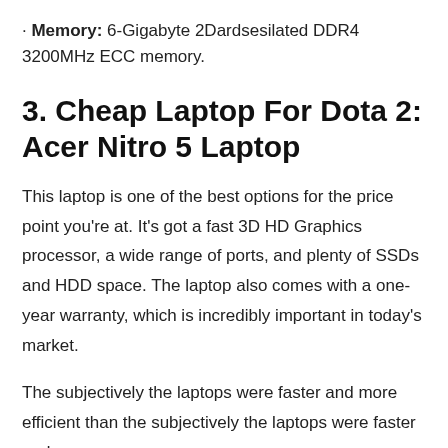· Memory: 6-Gigabyte 2Dardsesilated DDR4 3200MHz ECC memory.
3. Cheap Laptop For Dota 2: Acer Nitro 5 Laptop
This laptop is one of the best options for the price point you're at. It's got a fast 3D HD Graphics processor, a wide range of ports, and plenty of SSDs and HDD space. The laptop also comes with a one-year warranty, which is incredibly important in today's market.
The subjectively the laptops were faster and more efficient than the subjectively the laptops were faster and